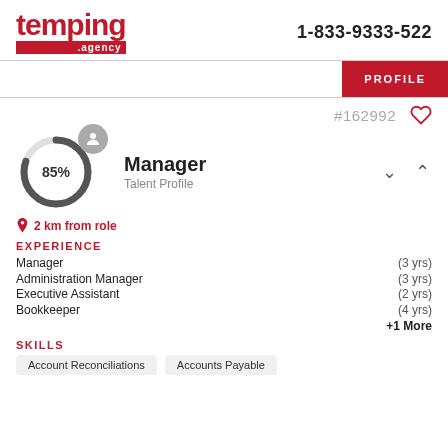[Figure (logo): temping.agency logo in red with phone number 1-833-9333-522]
1-833-9333-522
PROFILE
#162992
[Figure (infographic): Circular progress indicator showing 85% with a person avatar icon]
Manager
Talent Profile
2 km from role
EXPERIENCE
Manager (3 yrs)
Administration Manager (3 yrs)
Executive Assistant (2 yrs)
Bookkeeper (4 yrs)
+1 More
SKILLS
Account Reconciliations
Accounts Payable